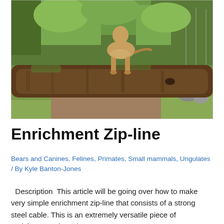[Figure (photo): A large feline (cougar/mountain lion) standing on a fallen log in an outdoor zoo enclosure surrounded by green foliage and dirt ground.]
Enrichment Zip-line
Bears and Canines, Felines, Primates, Small mammals, Ungulates / By Kyle Banton-Jones
Description  This article will be going over how to make very simple enrichment zip-line that consists of a strong steel cable. This is an extremely versatile piece of enrichment to have in every